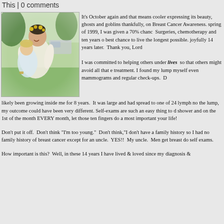This | 0 comments
[Figure (photo): Photo of a woman hugging a child outdoors, decorative flowers in hair, warm candid moment]
It's October again and that means cooler expressing its beauty, ghosts and goblins thankfully, on Breast Cancer Awareness. spring of 1999, I was given a 70% chance Surgeries, chemotherapy and ten years of best chance to live the longest possible. joyfully 14 years later. Thank you, Lord
I was committed to helping others under lives so that others might avoid all that treatment. I found my lump myself even mammograms and regular check-ups. D likely been growing inside me for 8 years. It was large and had spread to one of 24 lymph nodes. the lump, my outcome could have been very different. Self-exams are such an easy thing to do shower and on the 1st of the month EVERY month, let those ten fingers do a most important your life!
Don't put it off. Don't think "I'm too young." Don't think,"I don't have a family history so I had no family history of breast cancer except for an uncle. YES!! My uncle. Men get breast do self exams.
How important is this? Well, in these 14 years I have lived & loved since my diagnosis &